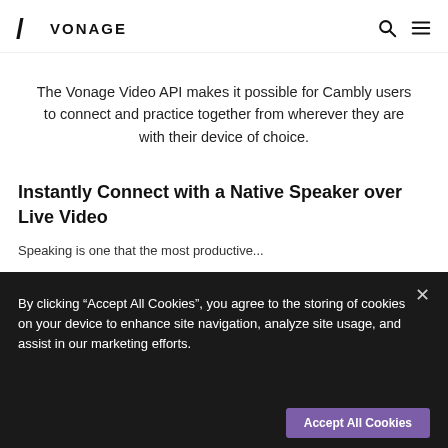VONAGE
The Vonage Video API makes it possible for Cambly users to connect and practice together from wherever they are with their device of choice.
Instantly Connect with a Native Speaker over Live Video
Speaking is one that the most productive...
By clicking “Accept All Cookies”, you agree to the storing of cookies on your device to enhance site navigation, analyze site usage, and assist in our marketing efforts.